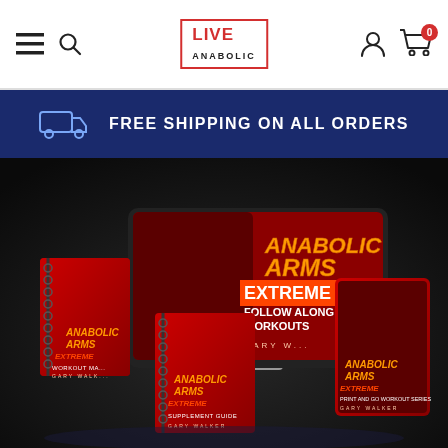LIVE ANABOLIC — Navigation bar with menu, search, logo, account, cart (0)
FREE SHIPPING ON ALL ORDERS
[Figure (photo): Product bundle photo showing Anabolic Arms Extreme workout program: a desktop monitor displaying 'ANABOLIC ARMS EXTREME FOLLOW ALONG WORKOUTS' by Gary Walker, two spiral-bound books (Workout Manual and Supplement Guide), and one tablet/book showing 'Print and Go Workout Series', all on dark background]